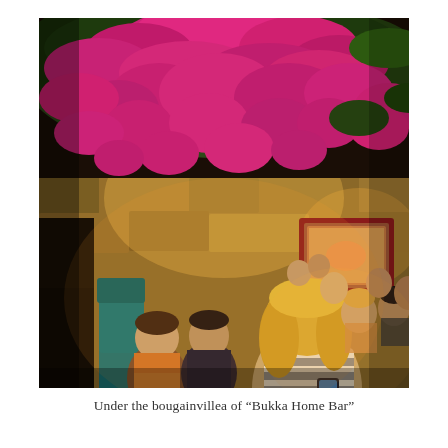[Figure (photo): Outdoor restaurant/bar scene at night with people seated at tables. Vibrant magenta/pink bougainvillea flowers cascading from above. Stone wall in background with warm ambient lighting. A woman with blonde hair in a striped top sits in the foreground looking at a phone. Teal/turquoise chairs visible. Several other patrons dining and socializing.]
Under the bougainvillea of "Bukka Home Bar"